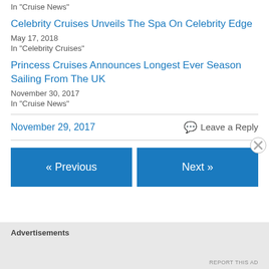In "Cruise News"
Celebrity Cruises Unveils The Spa On Celebrity Edge
May 17, 2018
In "Celebrity Cruises"
Princess Cruises Announces Longest Ever Season Sailing From The UK
November 30, 2017
In "Cruise News"
November 29, 2017
Leave a Reply
« Previous
Next »
Advertisements
REPORT THIS AD